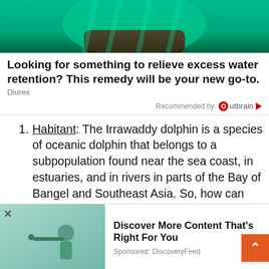[Figure (photo): Top portion of a person wearing green/teal outfit, cropped at torso level, on green background — advertisement image]
Looking for something to relieve excess water retention? This remedy will be your new go-to.
Diurex
Recommended by Outbrain
Habitant: The Irrawaddy dolphin is a species of oceanic dolphin that belongs to a subpopulation found near the sea coast, in estuaries, and in rivers in parts of the Bay of Bangel and Southeast Asia. So, how can the Irrawaddy dolphin live in the
[Figure (photo): Small image of a person looking through a telescope on a teal/green background — DiscoveryFeed advertisement]
Discover More Content That's Right For You
Sponsored: DiscoveryFeed
Brackish water is water that is saltier than fresh water but not as salty as sea water may result from mixing seawater with fresh